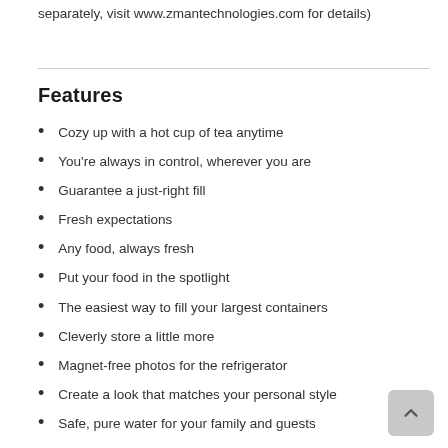separately, visit www.zmantechnologies.com for details)
Features
Cozy up with a hot cup of tea anytime
You're always in control, wherever you are
Guarantee a just-right fill
Fresh expectations
Any food, always fresh
Put your food in the spotlight
The easiest way to fill your largest containers
Cleverly store a little more
Magnet-free photos for the refrigerator
Create a look that matches your personal style
Safe, pure water for your family and guests
Enhanced Shabbos Mode